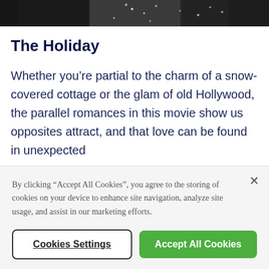[Figure (photo): Black and white photo strip at top of page showing what appears to be a wintery or sparkly scene]
The Holiday
Whether you’re partial to the charm of a snow-covered cottage or the glam of old Hollywood, the parallel romances in this movie show us opposites attract, and that love can be found in unexpected
By clicking “Accept All Cookies”, you agree to the storing of cookies on your device to enhance site navigation, analyze site usage, and assist in our marketing efforts.
Cookies Settings
Accept All Cookies